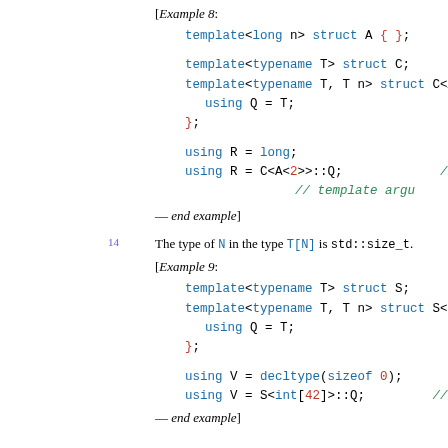[Example 8:
template<long n> struct A { };
template<typename T> struct C;
template<typename T, T n> struct C<A<n>> {
using Q = T;
};
using R = long;
using R = C<A<2>>::Q;   // OK; T was dec... // template argu...
— end example]
14  The type of N in the type T[N] is std::size_t.
[Example 9:
template<typename T> struct S;
template<typename T, T n> struct S<int[n]> {
using Q = T;
};
using V = decltype(sizeof 0);
using V = S<int[42]>::Q;   // OK; T was dec...
— end example]